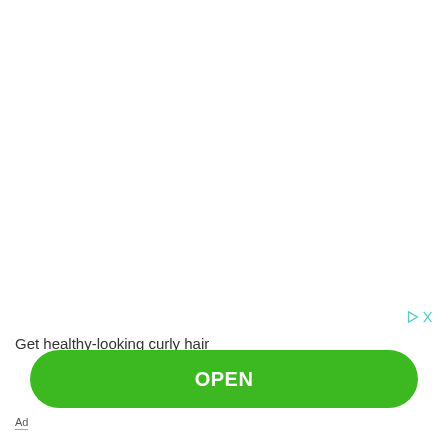Get healthy-looking curly hair
[Figure (other): Green rounded rectangle button with white text 'OPEN']
Ad